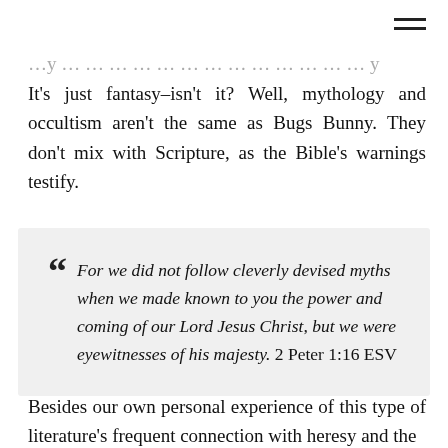☰
It's just fantasy–isn't it? Well, mythology and occultism aren't the same as Bugs Bunny. They don't mix with Scripture, as the Bible's warnings testify.
" For we did not follow cleverly devised myths when we made known to you the power and coming of our Lord Jesus Christ, but we were eyewitnesses of his majesty. 2 Peter 1:16 ESV
Besides our own personal experience of this type of literature's frequent connection with heresy and the